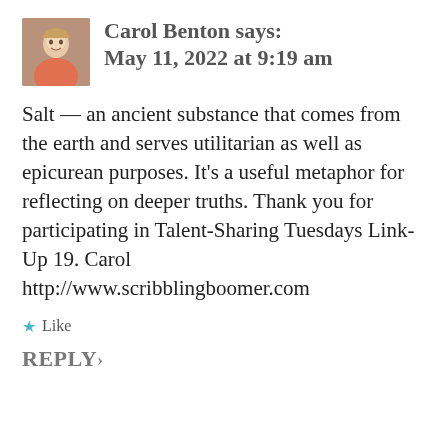[Figure (photo): Small square avatar photo of Carol Benton, a woman with light hair, in front of bookshelves]
Carol Benton says:
May 11, 2022 at 9:19 am
Salt — an ancient substance that comes from the earth and serves utilitarian as well as epicurean purposes. It's a useful metaphor for reflecting on deeper truths. Thank you for participating in Talent-Sharing Tuesdays Link-Up 19. Carol
http://www.scribblingboomer.com
★ Like
REPLY ›